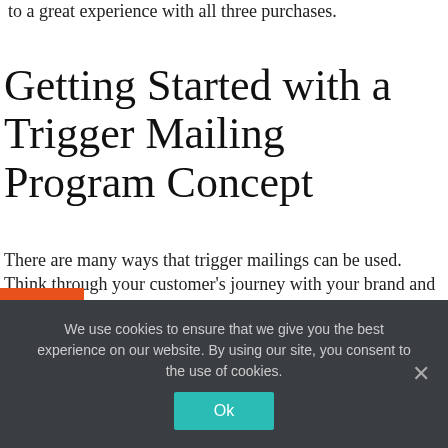to a great experience with all three purchases.
Getting Started with a Trigger Mailing Program Concept
There are many ways that trigger mailings can be used. Think through your customer's journey with your brand and how you could use triggered mailings to drive business. Here are some examples of questions to ask yourself:
a. How can I take a first-time customer and turn them into a loyal customer?
b. How can I take a customer back to the buying journey with their abandoned cart items?
We use cookies to ensure that we give you the best experience on our website. By using our site, you consent to the use of cookies.